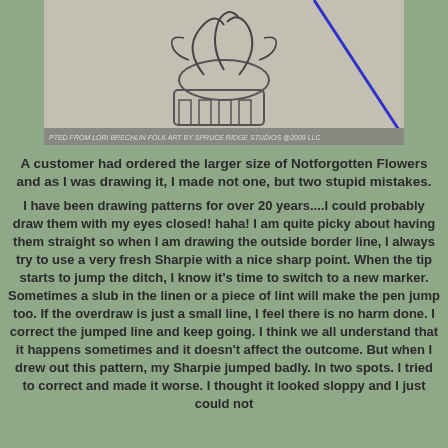[Figure (photo): A pencil or ink drawing on fabric/linen showing a folk art design with a vase/urn containing decorative swirling flowers, with a blue diagonal line drawn over the upper right corner. Text at the bottom of the image reads 'PTED FROM LORI BRECHLIN FOLK ART BY SPRUCE RIDGE STUDIOS @2009 LLC']
A customer had ordered the larger size of Notforgotten Flowers and as I was drawing it, I made not one, but two stupid mistakes.
I have been drawing patterns for over 20 years....I could probably draw them with my eyes closed!  haha!  I am quite picky about having them straight so when I am drawing the outside border line, I always try to use a very fresh Sharpie with a nice sharp point.  When the tip starts to jump the ditch, I know it's time to switch to a new marker.  Sometimes a slub in the linen or a piece of lint will make the pen jump too.  If the overdraw is just a small line, I feel there is no harm done.  I correct the jumped line and keep going.  I think we all understand that it happens sometimes and it doesn't affect the outcome.  But when I drew out this pattern, my Sharpie jumped badly.  In two spots.  I tried to correct and made it worse.  I thought it looked sloppy and I just could not